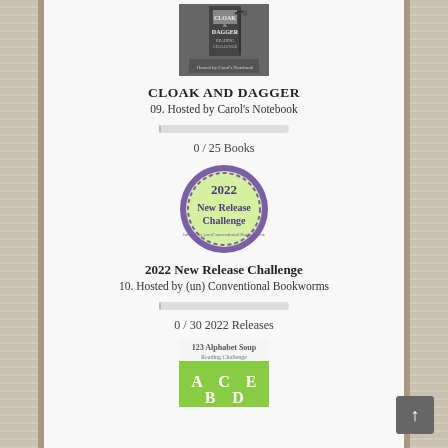[Figure (photo): Cloak and Dagger Reading Challenge book cover image in black and white with a street lamp]
CLOAK AND DAGGER
09. Hosted by Carol's Notebook
[Figure (infographic): Gray progress bar showing 0% completion]
0 / 25 Books
[Figure (logo): 2022 New Release Challenge badge - circular badge with green background and purple border, text reads 2022 New Release Challenge]
2022 New Release Challenge
10. Hosted by (un) Conventional Bookworms
[Figure (infographic): Gray progress bar showing 0% completion]
0 / 30 2022 Releases
[Figure (logo): 123 Alphabet Soup Reading Challenge badge with green letters A, C, E, B, D on white background]